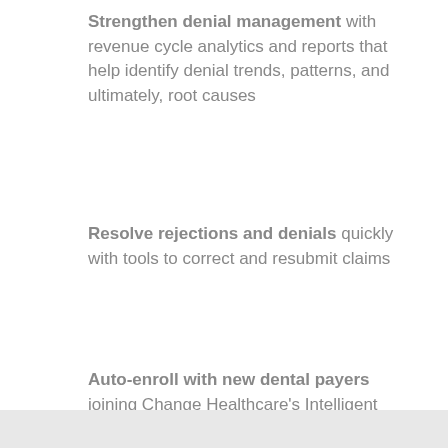Strengthen denial management with revenue cycle analytics and reports that help identify denial trends, patterns, and ultimately, root causes
Resolve rejections and denials quickly with tools to correct and resubmit claims
Auto-enroll with new dental payers joining Change Healthcare's Intelligent Healthcare Network™